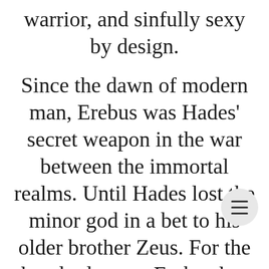warrior, and sinfully sexy by design.
Since the dawn of modern man, Erebus was Hades' secret weapon in the war between the immortal realms. Until Hades lost the minor god in a bet to his older brother Zeus. For the hundred years, Erebus has trained Zeus's Siren warriors in